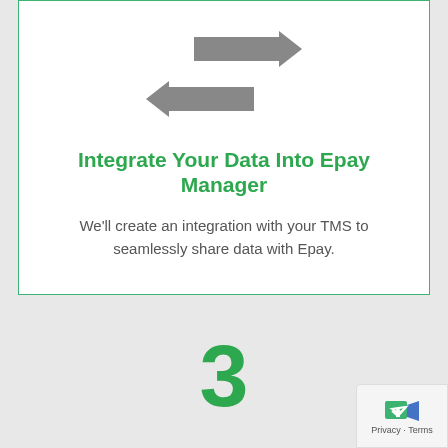[Figure (illustration): Two horizontal arrows pointing in opposite directions (left and right), colored gray, representing data integration/exchange]
Integrate Your Data Into Epay Manager
We'll create an integration with your TMS to seamlessly share data with Epay.
3